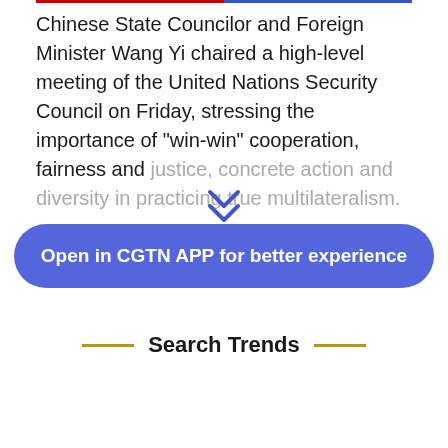Chinese State Councilor and Foreign Minister Wang Yi chaired a high-level meeting of the United Nations Security Council on Friday, stressing the importance of "win-win" cooperation, fairness and justice, concrete action and diversity in practicing true multilateralism.
Open in CGTN APP for better experience
Search Trends